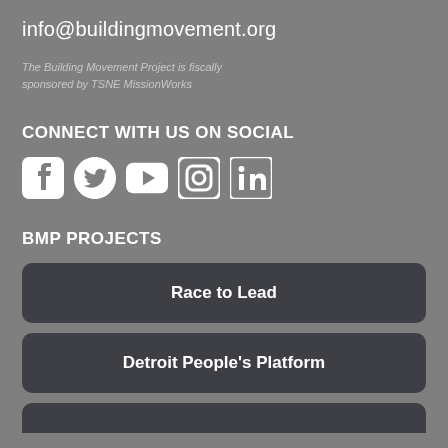info@buildingmovement.org
The Building Movement Project is fiscally sponsored by TSNE MissionWorks
CONNECT WITH US ON SOCIAL
[Figure (illustration): Social media icons: Facebook, Twitter, YouTube, Instagram, LinkedIn]
BMP PROJECTS
Race to Lead
Detroit People's Platform